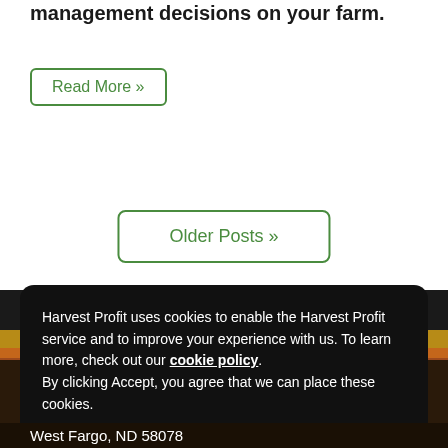management decisions on your farm.
Read More »
Older Posts »
Harvest Profit uses cookies to enable the Harvest Profit service and to improve your experience with us. To learn more, check out our cookie policy. By clicking Accept, you agree that we can place these cookies.
Accept
West Fargo, ND 58078